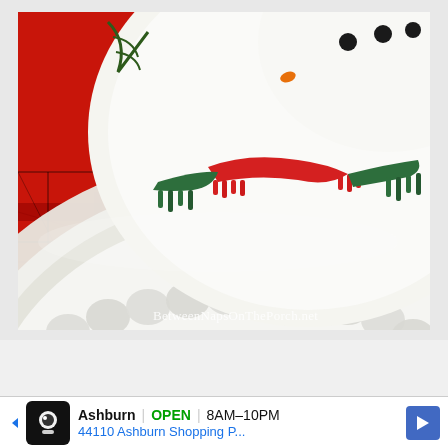[Figure (photo): Close-up photograph of a snowman-decorated ceramic plate/platter with a red-and-green scarf detail on a red tartan/plaid tablecloth. White embossed dinner plate underneath. Watermark reads 'BetweenNapsOnThePorch.net' in lower right corner.]
Ashburn OPEN 8AM–10PM
44110 Ashburn Shopping P...